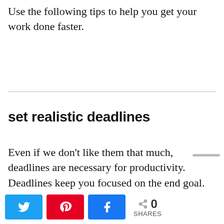Use the following tips to help you get your work done faster.
set realistic deadlines
Even if we don't like them that much, deadlines are necessary for productivity. Deadlines keep you focused on the end goal. they keep you from procrastinating